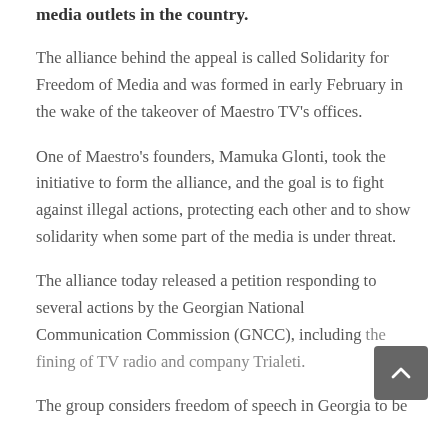media outlets in the country.
The alliance behind the appeal is called Solidarity for Freedom of Media and was formed in early February in the wake of the takeover of Maestro TV's offices.
One of Maestro's founders, Mamuka Glonti, took the initiative to form the alliance, and the goal is to fight against illegal actions, protecting each other and to show solidarity when some part of the media is under threat.
The alliance today released a petition responding to several actions by the Georgian National Communication Commission (GNCC), including the fining of TV radio and company Trialeti.
The group considers freedom of speech in Georgia to be